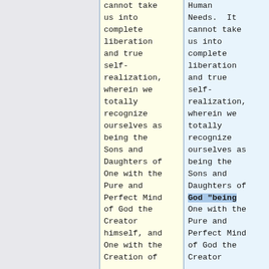cannot take us into complete liberation and true self-realization, wherein we totally recognize ourselves as being the Sons and Daughters of One with the Pure and Perfect Mind of God the Creator himself, and One with the Creation of
Human Needs.  It cannot take us into complete liberation and true self-realization, wherein we totally recognize ourselves as being the Sons and Daughters of God "being One with the Pure and Perfect Mind of God the Creator